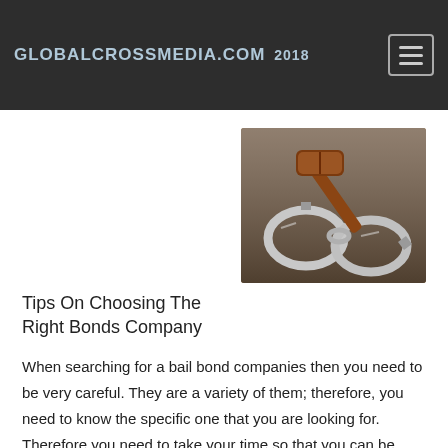GLOBALCROSSMEDIA.COM 2018
Tips On Choosing The Right Bonds Company
[Figure (photo): A wooden judge's gavel resting on a pair of silver handcuffs on a dark surface]
When searching for a bail bond companies then you need to be very careful. They are a variety of them; therefore, you need to know the specific one that you are looking for. Therefore you need to take your time so that you can be able to get the one that suits your needs. When you are in a position to differentiate the bail bond companies then you will be in a better place.